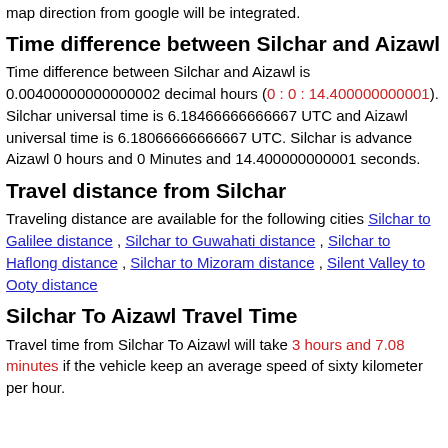map direction from google will be integrated.
Time difference between Silchar and Aizawl
Time difference between Silchar and Aizawl is 0.00400000000000002 decimal hours (0 : 0 : 14.400000000001). Silchar universal time is 6.18466666666667 UTC and Aizawl universal time is 6.18066666666667 UTC. Silchar is advance Aizawl 0 hours and 0 Minutes and 14.400000000001 seconds.
Travel distance from Silchar
Traveling distance are available for the following cities Silchar to Galilee distance , Silchar to Guwahati distance , Silchar to Haflong distance , Silchar to Mizoram distance , Silent Valley to Ooty distance
Silchar To Aizawl Travel Time
Travel time from Silchar To Aizawl will take 3 hours and 7.08 minutes if the vehicle keep an average speed of sixty kilometer per hour.